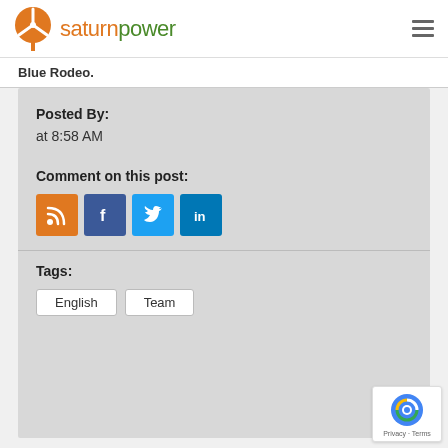saturnpower
Blue Rodeo.
Posted By:
at 8:58 AM
Comment on this post:
Tags:
English
Team